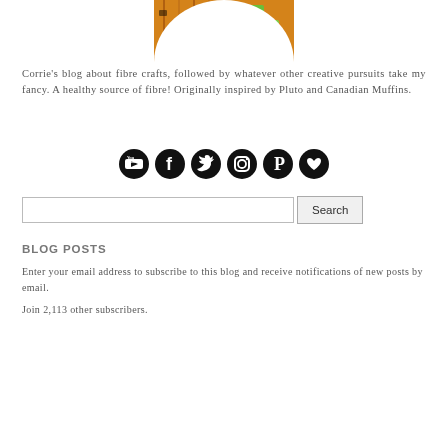[Figure (photo): Circular cropped photo of colorful knitted/crocheted items in orange, pink, and green, visible at top of page]
Corrie's blog about fibre crafts, followed by whatever other creative pursuits take my fancy. A healthy source of fibre! Originally inspired by Pluto and Canadian Muffins.
[Figure (infographic): Row of six circular social media icons: YouTube, Facebook, Twitter, Instagram, Pinterest, and a heart/love icon]
[Figure (other): Search bar with text input and Search button]
BLOG POSTS
Enter your email address to subscribe to this blog and receive notifications of new posts by email.
Join 2,113 other subscribers.
[Figure (other): Email Address input field with placeholder text 'Email Address']
[Figure (other): Subscribe button]